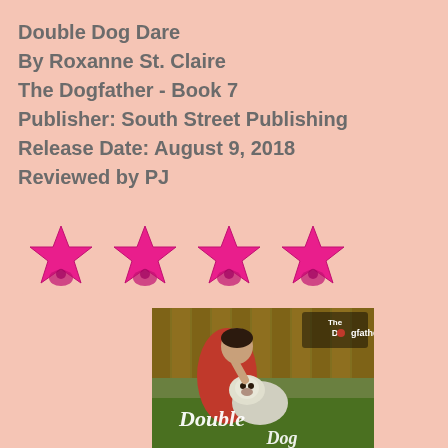Double Dog Dare
By Roxanne St. Claire
The Dogfather - Book 7
Publisher: South Street Publishing
Release Date: August 9, 2018
Reviewed by PJ
[Figure (other): Four pink star rating icons arranged in a horizontal row, each showing a pink/magenta star with a small dog paw or figure overlay below]
[Figure (photo): Book cover for 'Double Dog Dare' by Roxanne St. Claire, The Dogfather series. Shows a man in a pink/red shirt leaning down to nuzzle a fluffy dog (Shih Tzu type) in front of a wooden fence with green grass. The Dogfather logo is in the upper right corner. The title 'Double Dog Dare' appears in large white italic script across the lower portion of the cover.]